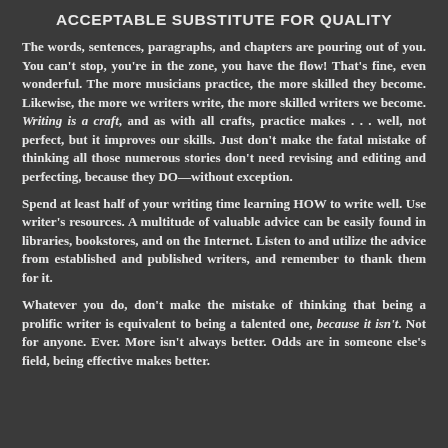ACCEPTABLE SUBSTITUTE FOR QUALITY
The words, sentences, paragraphs, and chapters are pouring out of you. You can't stop, you're in the zone, you have the flow! That's fine, even wonderful. The more musicians practice, the more skilled they become. Likewise, the more we writers write, the more skilled writers we become. Writing is a craft, and as with all crafts, practice makes . . . well, not perfect, but it improves our skills. Just don't make the fatal mistake of thinking all those numerous stories don't need revising and editing and perfecting, because they DO—without exception.
Spend at least half of your writing time learning HOW to write well. Use writer's resources. A multitude of valuable advice can be easily found in libraries, bookstores, and on the Internet. Listen to and utilize the advice from established and published writers, and remember to thank them for it.
Whatever you do, don't make the mistake of thinking that being a prolific writer is equivalent to being a talented one, because it isn't. Not for anyone. Ever. More isn't always better. Odds are in someone else's field, being effective makes better.